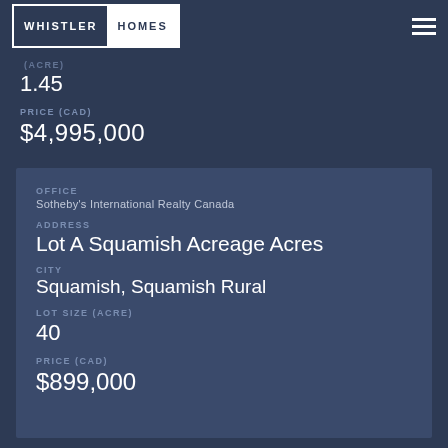WHISTLER HOMES
1.45
PRICE (CAD)
$4,995,000
OFFICE
Sotheby's International Realty Canada
ADDRESS
Lot A Squamish Acreage Acres
CITY
Squamish, Squamish Rural
LOT SIZE (ACRE)
40
PRICE (CAD)
$899,000